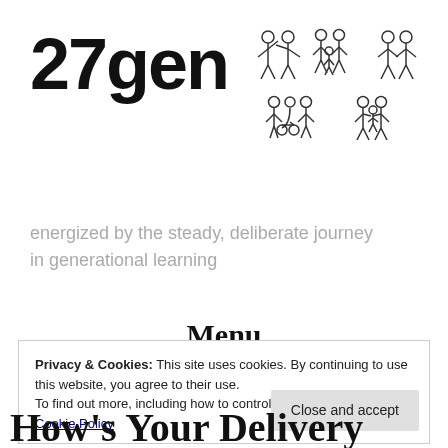[Figure (logo): 27gen logo with bold black text '27gen' and outline illustrations of family groups of people]
energized by the steady, deliberate journey in generational learning
Menu
Privacy & Cookies: This site uses cookies. By continuing to use this website, you agree to their use.
To find out more, including how to control cookies, see here: Cookie Policy
How's Your Delivery